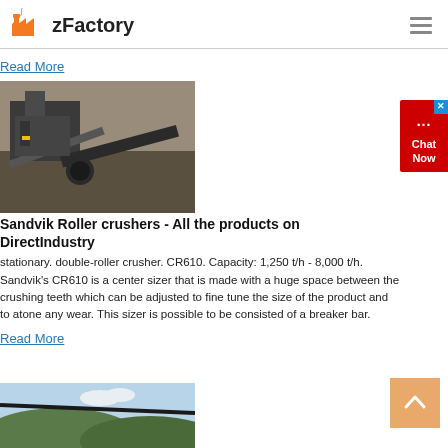zFactory
Read More
[Figure (photo): Industrial roller crusher / stone crushing machine at a quarry site with rock face in background]
Sandvik Roller crushers - All the products on DirectIndustry
stationary. double-roller crusher. CR610. Capacity: 1,250 t/h - 8,000 t/h. Sandvik's CR610 is a center sizer that is made with a huge space between the crushing teeth which can be adjusted to fine tune the size of the product and to atone any wear. This sizer is possible to be consisted of a breaker bar.
Read More
[Figure (photo): Outdoor quarry or mining site with hills and sky in background, conveyor belt visible]